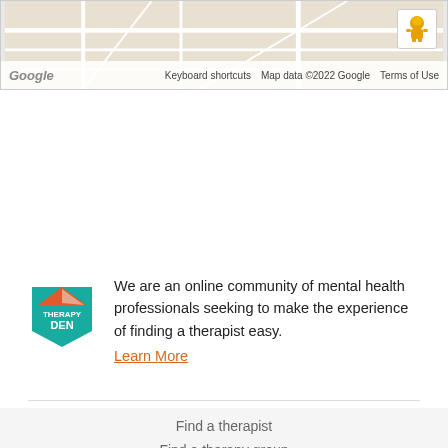[Figure (screenshot): Google Maps embed showing street map with person/pegman icon in top right, Google logo bottom left, and map attribution bar reading 'Keyboard shortcuts  Map data ©2022 Google  Terms of Use']
We are an online community of mental health professionals seeking to make the experience of finding a therapist easy.
Learn More
Find a therapist
Find a therapy group
Get listed
Locations
Contact us